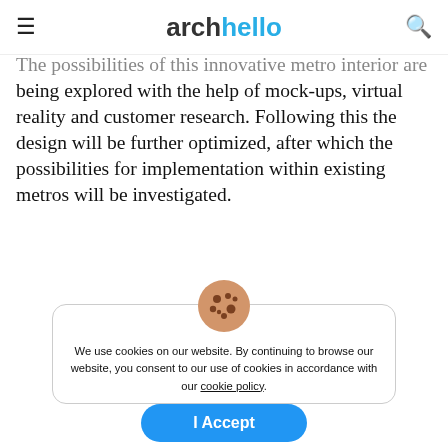archello
The possibilities of this innovative metro interior are being explored with the help of mock-ups, virtual reality and customer research. Following this the design will be further optimized, after which the possibilities for implementation within existing metros will be investigated.
Project Credits
We use cookies on our website. By continuing to browse our website, you consent to our use of cookies in accordance with our cookie policy.
I Accept